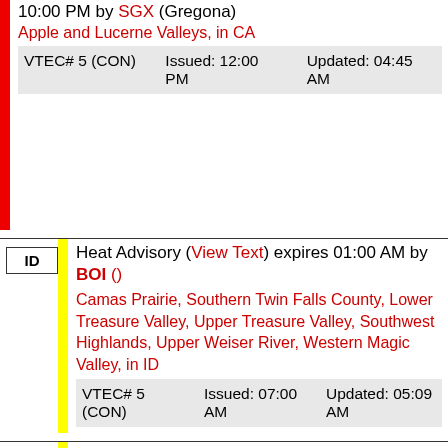10:00 PM by SGX (Gregona)
Apple and Lucerne Valleys, in CA
| VTEC# | Issued | Updated |
| --- | --- | --- |
| VTEC# 5 (CON) | Issued: 12:00 PM | Updated: 04:45 AM |
ID | Heat Advisory (View Text) expires 01:00 AM by BOI ()
Camas Prairie, Southern Twin Falls County, Lower Treasure Valley, Upper Treasure Valley, Southwest Highlands, Upper Weiser River, Western Magic Valley, in ID
| VTEC# | Issued | Updated |
| --- | --- | --- |
| VTEC# 5 (CON) | Issued: 07:00 AM | Updated: 05:09 AM |
OR | Heat Advisory (View Text) expires 01:00 AM by BOI ()
Malheur County, Harney County, Baker County, Oregon Lower Treasure Valley, in OR
| VTEC# | Issued | Updated |
| --- | --- | --- |
| VTEC# 5 (CON) | Issued: 07:00 | Updated: 05:09 |